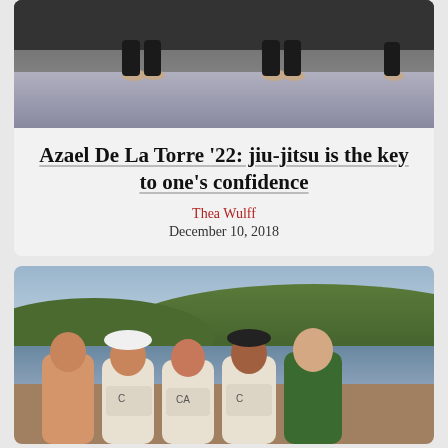[Figure (photo): Photo of a jiu-jitsu class on a gym floor, showing bare feet and legs of practitioners]
Azael De La Torre '22: jiu-jitsu is the key to one's confidence
Thea Wulff
December 10, 2018
[Figure (photo): Photo of five female rowers posing together near a lake with hills in the background]